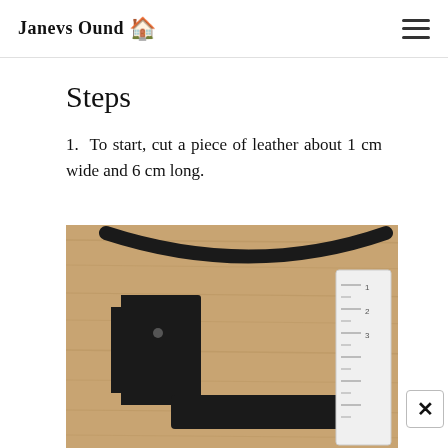Janevs Ound
Steps
1. To start, cut a piece of leather about 1 cm wide and 6 cm long.
[Figure (photo): Photo of black leather pieces and a ruler on a wooden surface. Shows a curved strip of black material at the top, a rectangular black piece in the middle-left with a small hole, and a flat black leather strip at the bottom center, with a white ruler/measuring tape on the right side.]